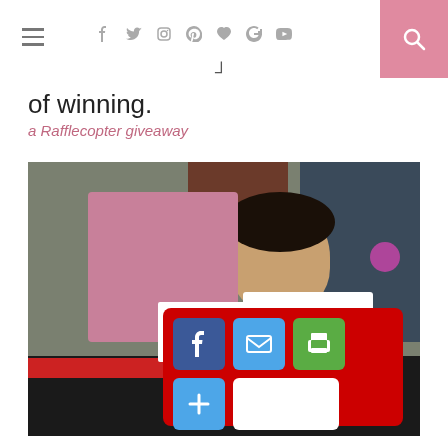Navigation icons and search
of winning.
a Rafflecopter giveaway
[Figure (photo): Woman holding a pink box and a card with red lips/kiss print logo, sitting behind a laptop keyboard. Social sharing buttons overlay at bottom showing Facebook, email, print, and a plus button.]